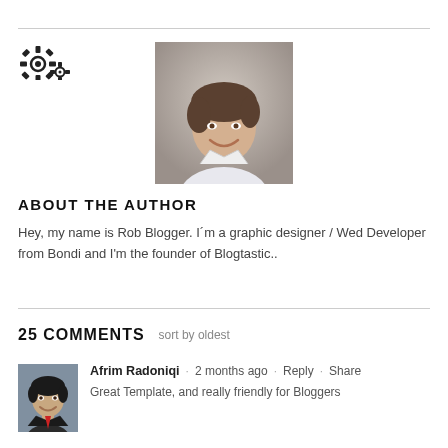[Figure (other): Gear/settings icon decorative element]
[Figure (photo): Author headshot photo of a smiling man]
ABOUT THE AUTHOR
Hey, my name is Rob Blogger. I´m a graphic designer / Wed Developer from Bondi and I'm the founder of Blogtastic..
25 COMMENTS sort by oldest
[Figure (photo): Commenter avatar photo of Afrim Radoniqi]
Afrim Radoniqi · 2 months ago · Reply · Share
Great Template, and really friendly for Bloggers